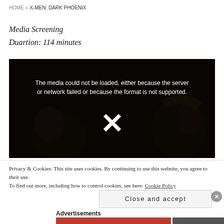HOME » X-MEN: DARK PHOENIX
Media Screening
Duartion: 114 minutes
[Figure (screenshot): Video player showing error message: 'The media could not be loaded, either because the server or network failed or because the format is not supported.' with a large X icon over a dark movie scene background.]
Privacy & Cookies: This site uses cookies. By continuing to use this website, you agree to their use.
To find out more, including how to control cookies, see here: Cookie Policy
Close and accept
Advertisements